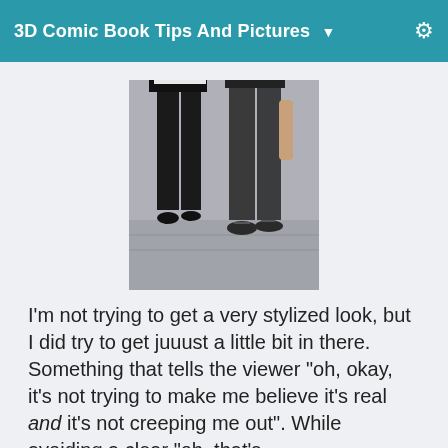3D Comic Book Tips And Pictures
[Figure (photo): Two people standing side by side, cropped at waist level. Left person wears a short black and white dress with black stockings and heels. Right person wears dark jeans and dark shoes.]
I'm not trying to get a very stylized look, but I did try to get juuust a little bit in there. Something that tells the viewer "oh, okay, it's not trying to make me believe it's real and it's not creeping me out". While avoiding a clear "oh, that's Aiko/Kanade/Sakura//The